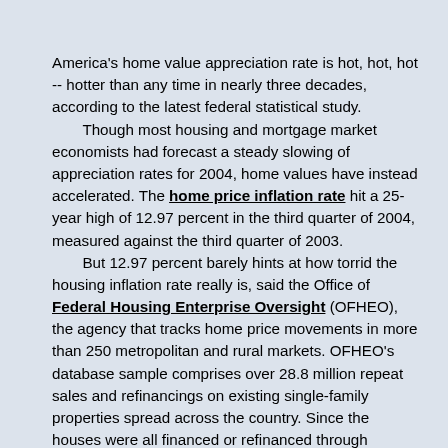America's home value appreciation rate is hot, hot, hot -- hotter than any time in nearly three decades, according to the latest federal statistical study. Though most housing and mortgage market economists had forecast a steady slowing of appreciation rates for 2004, home values have instead accelerated. The home price inflation rate hit a 25-year high of 12.97 percent in the third quarter of 2004, measured against the third quarter of 2003. But 12.97 percent barely hints at how torrid the housing inflation rate really is, said the Office of Federal Housing Enterprise Oversight (OFHEO), the agency that tracks home price movements in more than 250 metropolitan and rural markets. OFHEO's database sample comprises over 28.8 million repeat sales and refinancings on existing single-family properties spread across the country. Since the houses were all financed or refinanced through Fannie Mae or Freddie Mac, OFHEO has direct access to the properties' selling prices and appraisals. The annualized quarterly rate for the country as a whole during the third quarter was 18.48 percent -- also the highest recorded by the Home Price Index in its 30 years of existence.